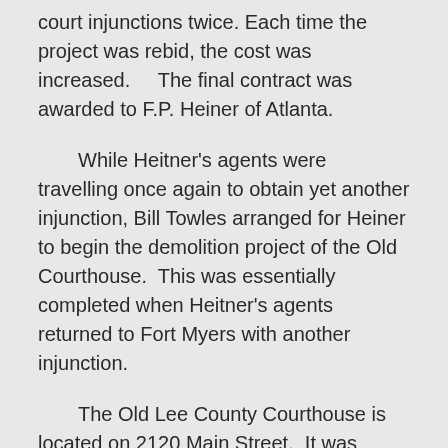court injunctions twice. Each time the project was rebid, the cost was increased.    The final contract was awarded to F.P. Heiner of Atlanta.
While Heitner's agents were travelling once again to obtain yet another injunction, Bill Towles arranged for Heiner to begin the demolition project of the Old Courthouse.  This was essentially completed when Heitner's agents returned to Fort Myers with another injunction.
The Old Lee County Courthouse is located on 2120 Main Street.  It was designed by Francis J. Kennard.  It was built in 1915.  The style was Neoclassical.   Its outside walls are brick and granite.  There are two porticoed Doric columns at the front entrance.  The lobby is constructed of marble and carved wood.